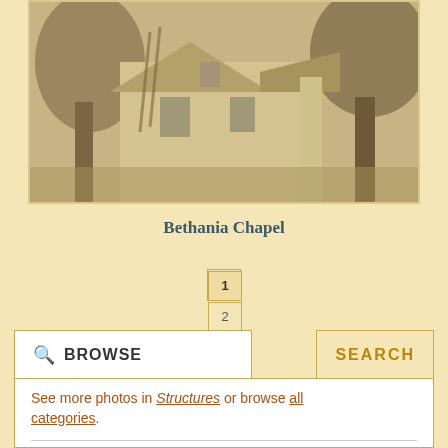[Figure (photo): Black and white historical photograph of Bethania Chapel, showing a building with trees surrounding it]
Bethania Chapel
1 2 3 »
🔍 BROWSE
SEARCH
See more photos in Structures or browse all categories.
Structures › Architectural Details (2719)
Structures › Architectural Details › Arches (7)
Structures › Architectural Details › Archways (120)